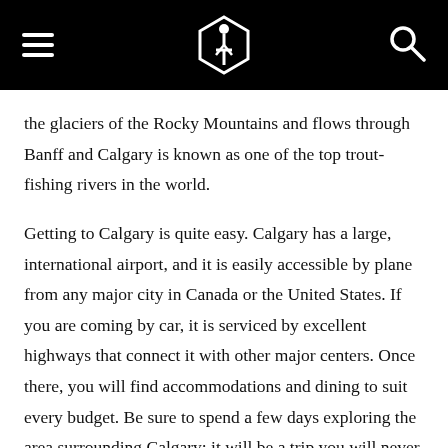the glaciers of the Rocky Mountains and flows through Banff and Calgary is known as one of the top trout-fishing rivers in the world.
Getting to Calgary is quite easy. Calgary has a large, international airport, and it is easily accessible by plane from any major city in Canada or the United States. If you are coming by car, it is serviced by excellent highways that connect it with other major centers. Once there, you will find accommodations and dining to suit every budget. Be sure to spend a few days exploring the area surrounding Calgary; it will be a trip you will never forget.